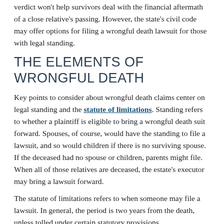verdict won't help survivors deal with the financial aftermath of a close relative's passing. However, the state's civil code may offer options for filing a wrongful death lawsuit for those with legal standing.
THE ELEMENTS OF WRONGFUL DEATH
Key points to consider about wrongful death claims center on legal standing and the statute of limitations. Standing refers to whether a plaintiff is eligible to bring a wrongful death suit forward. Spouses, of course, would have the standing to file a lawsuit, and so would children if there is no surviving spouse. If the deceased had no spouse or children, parents might file. When all of those relatives are deceased, the estate's executor may bring a lawsuit forward.
The statute of limitations refers to when someone may file a lawsuit. In general, the period is two years from the death, unless tolled under certain statutory provisions.